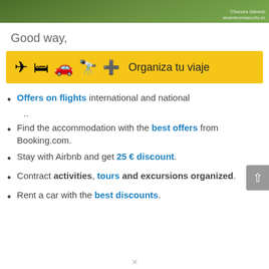[Figure (photo): Green foliage/grass photo strip with copyright watermark: © Sandra Salvadó elcaminomascorto.es]
Good way,
[Figure (infographic): Yellow banner with travel icons (airplane, bed, car, binoculars, medical cross) and text: Organiza tu viaje]
Offers on flights international and national ..
Find the accommodation with the best offers from Booking.com.
Stay with Airbnb and get 25 € discount.
Contract activities, tours and excursions organized.
Rent a car with the best discounts.